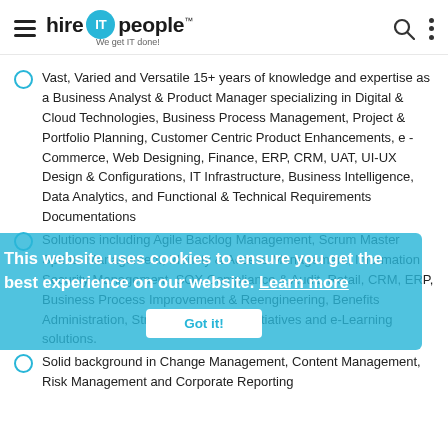hire IT people - We get IT done!
Vast, Varied and Versatile 15+ years of knowledge and expertise as a Business Analyst & Product Manager specializing in Digital & Cloud Technologies, Business Process Management, Project & Portfolio Planning, Customer Centric Product Enhancements, e - Commerce, Web Designing, Finance, ERP, CRM, UAT, UI-UX Design & Configurations, IT Infrastructure, Business Intelligence, Data Analytics, and Functional & Technical Requirements Documentations
Solutions including Agile Backlog Management, Scrum Master Sprints Management, Identity & Access Management, Information Security Management, SOX Compliance & Audit, Retail, CRM, ERP, Business Process Improvement & Reengineering, Benefits Administration, Strategic Alignment Initiatives and e-Learning solutions.
Solid background in Change Management, Content Management, Risk Management and Corporate Reporting
This website uses cookies to ensure you get the best experience on our website. Learn more
Got it!